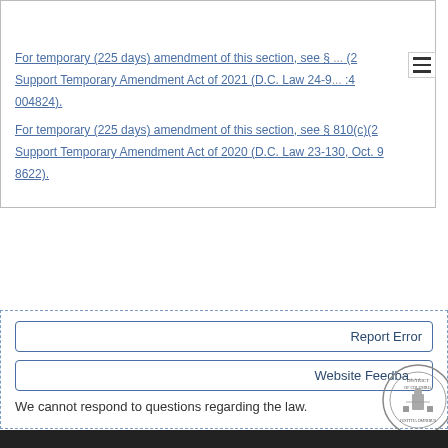Temporary Legislation
For temporary (225 days) amendment of this section, see § (2) Support Temporary Amendment Act of 2021 (D.C. Law 24-9, 004824).
For temporary (225 days) amendment of this section, see § 810(c)(2) Support Temporary Amendment Act of 2020 (D.C. Law 23-130, Oct. 9, 8622).
Report Error
Website Feedback
We cannot respond to questions regarding the law.
[Figure (logo): District of Columbia seal, partially visible in bottom right corner]